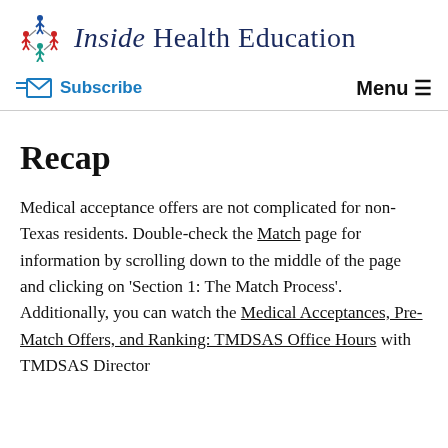Inside Health Education
Subscribe   Menu
Recap
Medical acceptance offers are not complicated for non-Texas residents. Double-check the Match page for information by scrolling down to the middle of the page and clicking on 'Section 1: The Match Process'. Additionally, you can watch the Medical Acceptances, Pre-Match Offers, and Ranking: TMDSAS Office Hours with TMDSAS Director